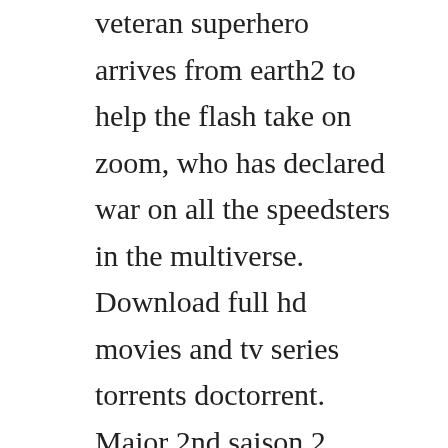veteran superhero arrives from earth2 to help the flash take on zoom, who has declared war on all the speedsters in the multiverse. Download full hd movies and tv series torrents doctorrent. Major 2nd saison 2 episode 3 vostfr video dailymotion. Telecharger films at series site torrent9 torrents france. On our website you can download this season with quality. Shisho ni naru tame ni wa shudan wo erandeiraremasen saison 02 vostfr 720p. The blacklist season 6 episode guide weekly episode guides and photo galleries from season 6 of nbcs the